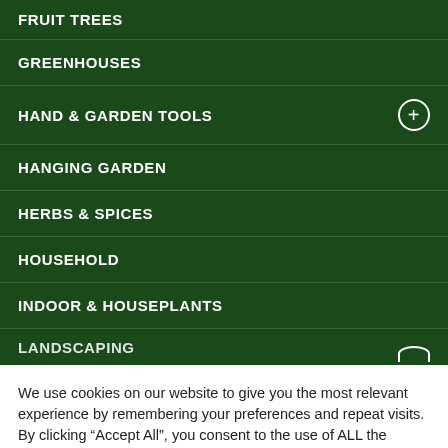FRUIT TREES
GREENHOUSES
HAND & GARDEN TOOLS
HANGING GARDEN
HERBS & SPICES
HOUSEHOLD
INDOOR & HOUSEPLANTS
LANDSCAPING
We use cookies on our website to give you the most relevant experience by remembering your preferences and repeat visits. By clicking “Accept All”, you consent to the use of ALL the cookies. However, you may visit "Cookie Settings" to provide a controlled consent.
Cookie Settings | Accept All